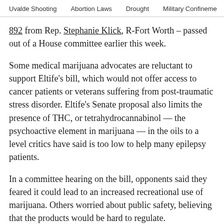Uvalde Shooting   Abortion Laws   Drought   Military Confinement
892 from Rep. Stephanie Klick, R-Fort Worth – passed out of a House committee earlier this week.
Some medical marijuana advocates are reluctant to support Eltife's bill, which would not offer access to cancer patients or veterans suffering from post-traumatic stress disorder. Eltife's Senate proposal also limits the presence of THC, or tetrahydrocannabinol — the psychoactive element in marijuana — in the oils to a level critics have said is too low to help many epilepsy patients.
In a committee hearing on the bill, opponents said they feared it could lead to an increased recreational use of marijuana. Others worried about public safety, believing that the products would be hard to regulate.
Texas is one of 16 states where marijuana is illegal for